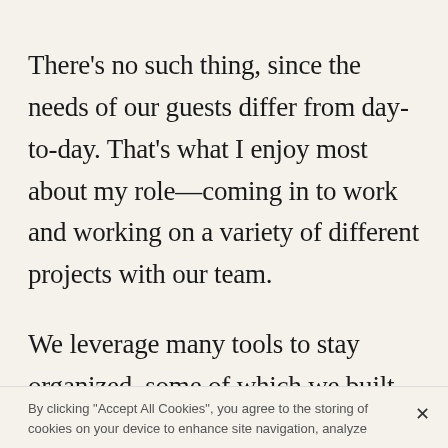There’s no such thing, since the needs of our guests differ from day-to-day. That’s what I enjoy most about my role—coming in to work and working on a variety of different projects with our team.
We leverage many tools to stay organized, some of which we built in-house, to enable our teams to more efficiently and effectively service our spaces and provide an elevated experience for our guests. My
By clicking “Accept All Cookies”, you agree to the storing of cookies on your device to enhance site navigation, analyze